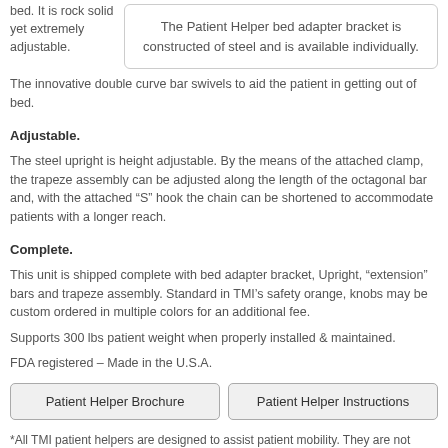bed. It is rock solid yet extremely adjustable.
The Patient Helper bed adapter bracket is constructed of steel and is available individually.
The innovative double curve bar swivels to aid the patient in getting out of bed.
Adjustable.
The steel upright is height adjustable. By the means of the attached clamp, the trapeze assembly can be adjusted along the length of the octagonal bar and, with the attached “S” hook the chain can be shortened to accommodate patients with a longer reach.
Complete.
This unit is shipped complete with bed adapter bracket, Upright, “extension” bars and trapeze assembly. Standard in TMI’s safety orange, knobs may be custom ordered in multiple colors for an additional fee.
Supports 300 lbs patient weight when properly installed & maintained.
FDA registered – Made in the U.S.A.
Patient Helper Brochure
Patient Helper Instructions
*All TMI patient helpers are designed to assist patient mobility. They are not